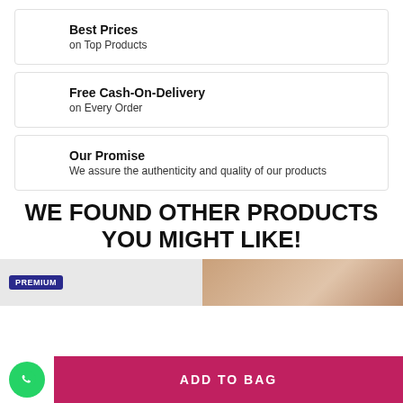Best Prices
on Top Products
Free Cash-On-Delivery
on Every Order
Our Promise
We assure the authenticity and quality of our products
WE FOUND OTHER PRODUCTS YOU MIGHT LIKE!
[Figure (photo): Product images strip showing two products side by side]
ADD TO BAG